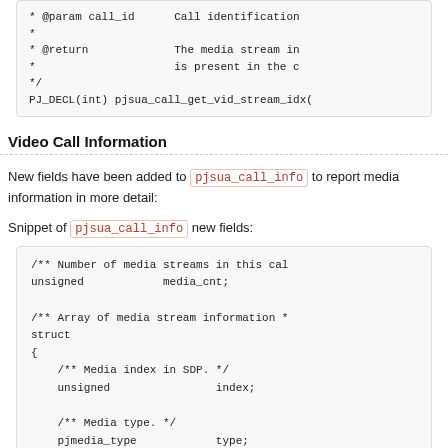* @param call_id      Call identification
*
* @return             The media stream in
*                     is present in the c
*/
PJ_DECL(int) pjsua_call_get_vid_stream_idx(
Video Call Information
New fields have been added to pjsua_call_info to report media information in more detail:
Snippet of pjsua_call_info new fields:
/** Number of media streams in this cal
unsigned            media_cnt;

/** Array of media stream information *
struct
{
    /** Media index in SDP. */
    unsigned                index;

    /** Media type. */
    pjmedia_type            type;

    /** Media direction. */
    pjmedia_dir             dir;